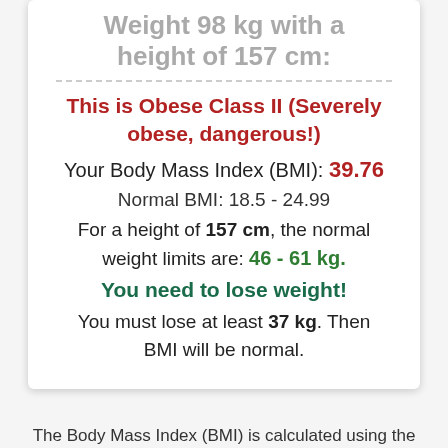Weight 98 kg with a height of 157 cm:
This is Obese Class II (Severely obese, dangerous!)
Your Body Mass Index (BMI): 39.76
Normal BMI: 18.5 - 24.99
For a height of 157 cm, the normal weight limits are: 46 - 61 kg.
You need to lose weight!
You must lose at least 37 kg. Then BMI will be normal.
The Body Mass Index (BMI) is calculated using the